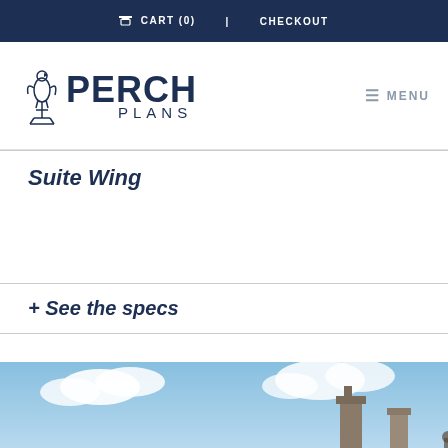CART (0)  CHECKOUT
[Figure (logo): Perch Plans logo with a bird figure and text 'PERCH PLANS' in dark navy]
≡ MENU
Suite Wing
+ See the specs
[Figure (photo): Partial view of a building rooftop with chimneys against a blue sky with clouds]